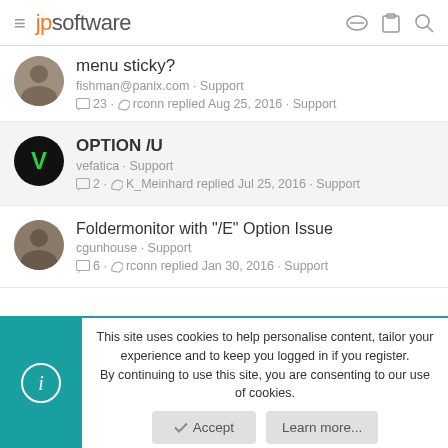jpsoftware
menu sticky?
fishman@panix.com · Support
💬 23 · ↩ rconn replied Aug 25, 2016 · Support
OPTION /U
vefatica · Support
💬 2 · ↩ K_Meinhard replied Jul 25, 2016 · Support
Foldermonitor with "/E" Option Issue
cgunhouse · Support
💬 6 · ↩ rconn replied Jan 30, 2016 · Support
This site uses cookies to help personalise content, tailor your experience and to keep you logged in if you register.
By continuing to use this site, you are consenting to our use of cookies.
Accept   Learn more...